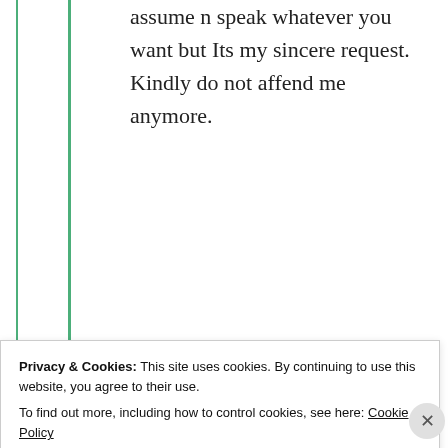assume n speak whatever you want but Its my sincere request. Kindly do not affend me anymore.
Like
mildredprince
Privacy & Cookies: This site uses cookies. By continuing to use this website, you agree to their use.
To find out more, including how to control cookies, see here: Cookie Policy
Close and accept